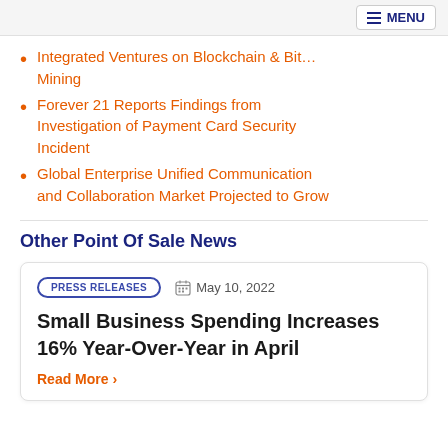MENU
Integrated Ventures on Blockchain & Bitcoin Mining
Forever 21 Reports Findings from Investigation of Payment Card Security Incident
Global Enterprise Unified Communication and Collaboration Market Projected to Grow
Other Point Of Sale News
PRESS RELEASES   May 10, 2022
Small Business Spending Increases 16% Year-Over-Year in April
Read More >